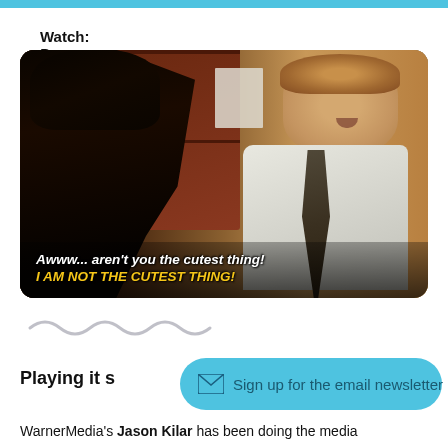Watch: Panama Mike
[Figure (screenshot): TV show screenshot showing two characters, with subtitle text: "Awww... aren't you the cutest thing! / I AM NOT THE CUTEST THING!"]
[Figure (illustration): Squiggly wave/divider graphic in light gray]
Playing it s
Sign up for the email newsletter
WarnerMedia's Jason Kilar has been doing the media